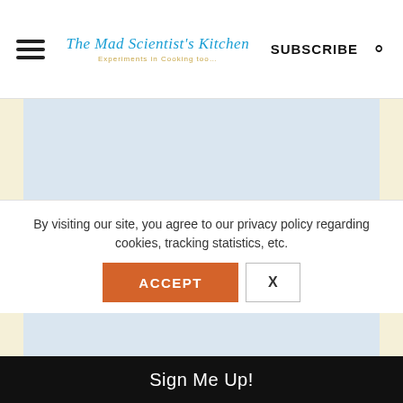The Mad Scientist's Kitchen | SUBSCRIBE
[Figure (other): Light blue placeholder content area (advertisement or image placeholder)]
For The Dal:
1 cup toor dal
Salt to Taste
5 Kokum soaked and drained
By visiting our site, you agree to our privacy policy regarding cookies, tracking statistics, etc.
ACCEPT | X
Sign Me Up!